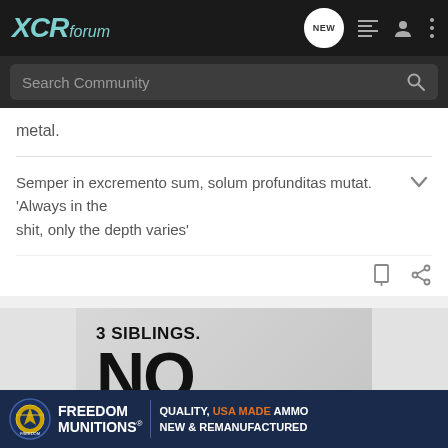XCRforum
metal.
Semper in excremento sum, solum profunditas mutat. 'Always in the shit, only the depth varies'
[Figure (screenshot): Advertisement image showing '3 SIBLINGS. NO' text on grey background above a Freedom Munitions banner ad reading 'QUALITY, USA MADE AMMO NEW & REMANUFACTURED']